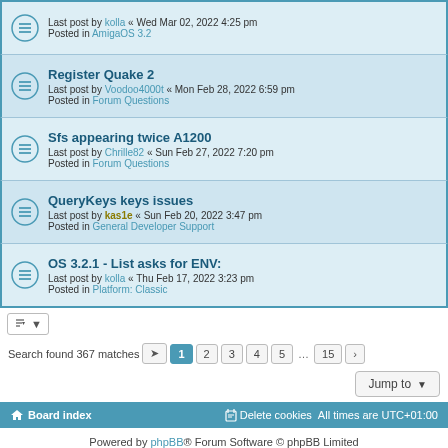Last post by kolla « Wed Mar 02, 2022 4:25 pm
Posted in AmigaOS 3.2
Register Quake 2
Last post by Voodoo4000t « Mon Feb 28, 2022 6:59 pm
Posted in Forum Questions
Sfs appearing twice A1200
Last post by Chrille82 « Sun Feb 27, 2022 7:20 pm
Posted in Forum Questions
QueryKeys keys issues
Last post by kas1e « Sun Feb 20, 2022 3:47 pm
Posted in General Developer Support
OS 3.2.1 - List asks for ENV:
Last post by kolla « Thu Feb 17, 2022 3:23 pm
Posted in Platform: Classic
Search found 367 matches
Jump to
Board index | Delete cookies | All times are UTC+01:00
Powered by phpBB® Forum Software © phpBB Limited
Privacy | Terms